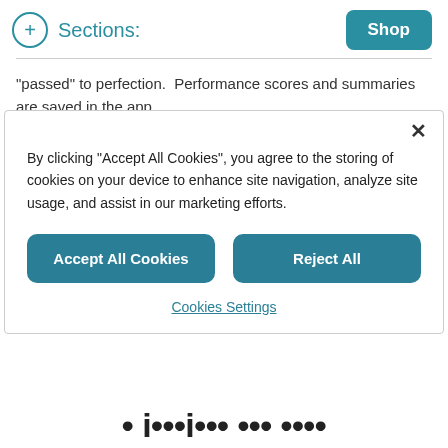Sections: Shop
“passed” to perfection.  Performance scores and summaries are saved in the app.
QCPR race competition
Finish every training session with an informal and fun QCPR race.
By clicking “Accept All Cookies”, you agree to the storing of cookies on your device to enhance site navigation, analyze site usage, and assist in our marketing efforts.
Accept All Cookies   Reject All
Cookies Settings